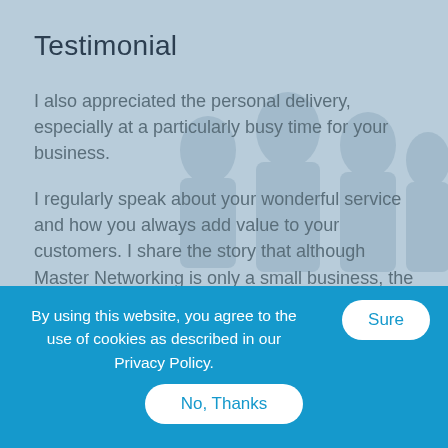Testimonial
I also appreciated the personal delivery, especially at a particularly busy time for your business.
I regularly speak about your wonderful service and how you always add value to your customers. I share the story that although Master Networking is only a small business, the Cartridge Family always make us feel important and valued as a customer.
By using this website, you agree to the use of cookies as described in our Privacy Policy.
Sure
No, Thanks